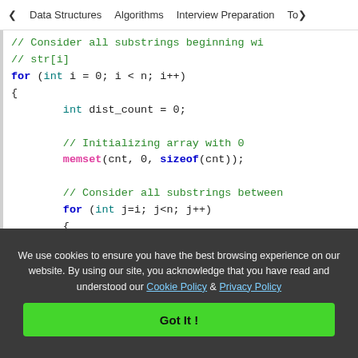< Data Structures   Algorithms   Interview Preparation   Top>
// Consider all substrings beginning wi
// str[i]
for (int i = 0; i < n; i++)
{
    int dist_count = 0;

    // Initializing array with 0
    memset(cnt, 0, sizeof(cnt));

    // Consider all substrings between
    for (int j=i; j<n; j++)
    {
        // If this is a new character f
        // substring, increment dist_co
        if (cnt[str[j] - 'a'] == 0)
We use cookies to ensure you have the best browsing experience on our website. By using our site, you acknowledge that you have read and understood our Cookie Policy & Privacy Policy
Got It !